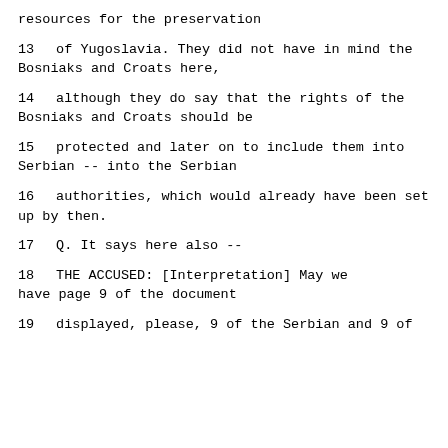resources for the preservation
13    of Yugoslavia.  They did not have in mind the Bosniaks and Croats here,
14    although they do say that the rights of the Bosniaks and Croats should be
15    protected and later on to include them into Serbian -- into the Serbian
16    authorities, which would already have been set up by then.
17         Q.    It says here also --
18              THE ACCUSED: [Interpretation] May we have page 9 of the document
19    displayed, please, 9 of the Serbian and 9 of